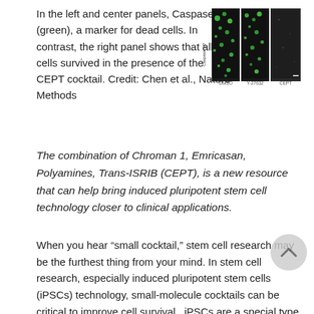In the left and center panels, Caspase 3/7 (green), a marker for dead cells. In contrast, the right panel shows that all cells survived in the presence of the CEPT cocktail. Credit: Chen et al., Nature Methods
[Figure (photo): Microscopy images showing three panels labeled DMSO, Y-27632, and CEPT, with green Caspase 3/7 staining. Labeled 'Caspase 3/7' on the left side vertically.]
The combination of Chroman 1, Emricasan, Polyamines, Trans-ISRIB (CEPT), is a new resource that can help bring induced pluripotent stem cell technology closer to clinical applications.
When you hear “small cocktail,” stem cell research may be the furthest thing from your mind. In stem cell research, especially induced pluripotent stem cells (iPSCs) technology, small-molecule cocktails can be critical to improve cell survival.  iPSCs are a special type of stem cell derived from adult cells that can be